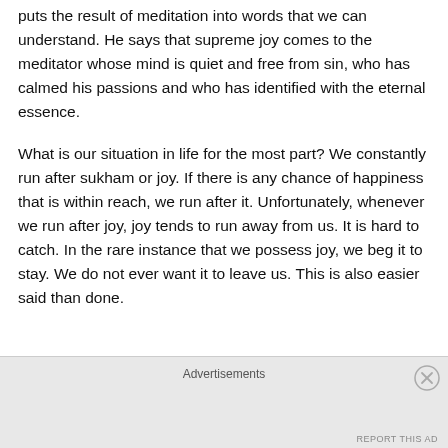puts the result of meditation into words that we can understand. He says that supreme joy comes to the meditator whose mind is quiet and free from sin, who has calmed his passions and who has identified with the eternal essence.
What is our situation in life for the most part? We constantly run after sukham or joy. If there is any chance of happiness that is within reach, we run after it. Unfortunately, whenever we run after joy, joy tends to run away from us. It is hard to catch. In the rare instance that we possess joy, we beg it to stay. We do not ever want it to leave us. This is also easier said than done.
Advertisements